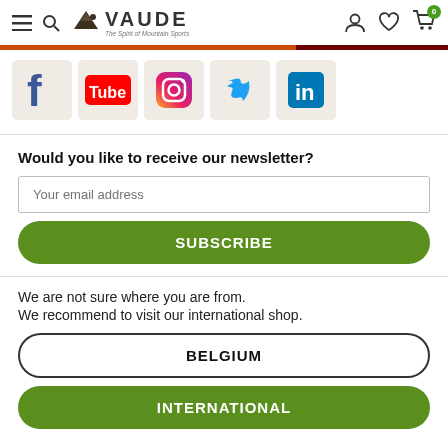VAUDE - The Spirit of Mountain Sports
[Figure (logo): VAUDE brand logo with mountain icon and tagline 'The Spirit of Mountain Sports']
[Figure (infographic): Social media icons: Facebook, YouTube, Instagram, Twitter, LinkedIn]
Would you like to receive our newsletter?
Your email address
SUBSCRIBE
We are not sure where you are from.
We recommend to visit our international shop.
BELGIUM
INTERNATIONAL